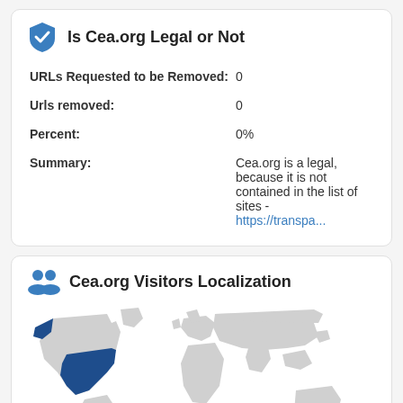Is Cea.org Legal or Not
| URLs Requested to be Removed: | 0 |
| Urls removed: | 0 |
| Percent: | 0% |
| Summary: | Cea.org is a legal, because it is not contained in the list of sites - https://transpa... |
Cea.org Visitors Localization
[Figure (map): World map showing visitor localization for Cea.org with the United States (including Alaska) highlighted in dark blue, rest of the world in light grey.]